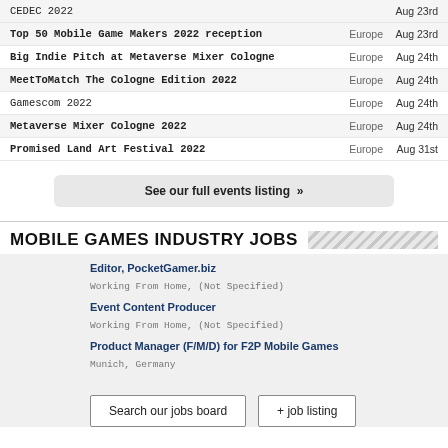CEDEC 2022 — Aug 23rd
Top 50 Mobile Game Makers 2022 reception — Europe — Aug 23rd
Big Indie Pitch at Metaverse Mixer Cologne — Europe — Aug 24th
MeetToMatch The Cologne Edition 2022 — Europe — Aug 24th
Gamescom 2022 — Europe — Aug 24th
Metaverse Mixer Cologne 2022 — Europe — Aug 24th
Promised Land Art Festival 2022 — Europe — Aug 31st
See our full events listing »
MOBILE GAMES INDUSTRY JOBS
Editor, PocketGamer.biz
Working From Home, (Not Specified)
Event Content Producer
Working From Home, (Not Specified)
Product Manager (F/M/D) for F2P Mobile Games
Munich, Germany
Search our jobs board
+ job listing